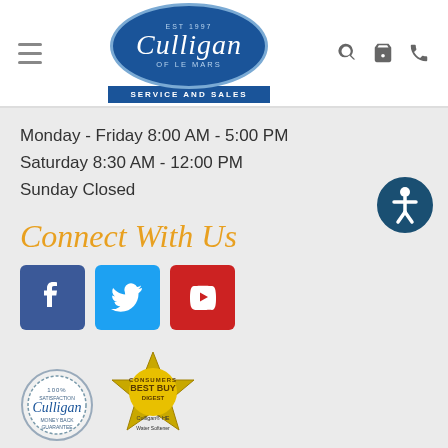[Figure (logo): Culligan of Le Mars Service and Sales logo — blue oval with navigation hamburger menu, search, cart, and phone icons]
Monday - Friday 8:00 AM - 5:00 PM
Saturday 8:30 AM - 12:00 PM
Sunday Closed
Connect With Us
[Figure (illustration): Social media icons: Facebook (blue), Twitter (light blue), YouTube (red)]
[Figure (illustration): Accessibility icon button — dark blue circle with white person/wheelchair symbol]
[Figure (logo): 100% Satisfaction Culligan guarantee badge seal]
[Figure (logo): Consumer's Digest Best Buy badge for Culligan HE Water Softener]